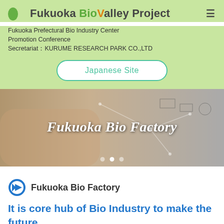Fukuoka BioValley Project
Fukuoka Prefectural Bio Industry Center Promotion Conference
Secretariat：KURUME RESEARCH PARK CO.,LTD
Japanese Site
[Figure (photo): Hero banner image showing a hand pointing at a diagram with business/science doodles overlaid, with text 'Fukuoka Bio Factory' and navigation dots at the bottom.]
Fukuoka Bio Factory
It is core hub of Bio Industry to make the future.
Fukuoka Pref. and Kurume City promote the Fukuoka Bio Valley Project to integrate Bio Industry such as bio-venture companies and research organizations